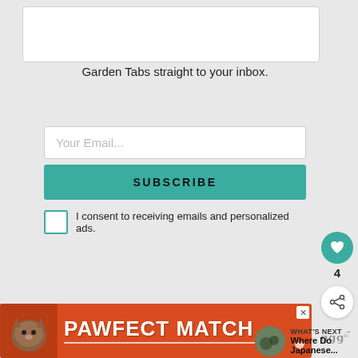Subscribe to Garden Tabs!
Get updates on the latest posts and more from Garden Tabs straight to your inbox.
[Figure (screenshot): Email subscription form with input field, Subscribe button, and consent checkbox]
I consent to receiving emails and personalized ads.
[Figure (infographic): Heart/like button showing count of 4 and a share button]
4
WHAT'S NEXT → Where Do Japanese...
[Figure (photo): Advertisement banner: PAWFECT MATCH with cat photo on orange background]